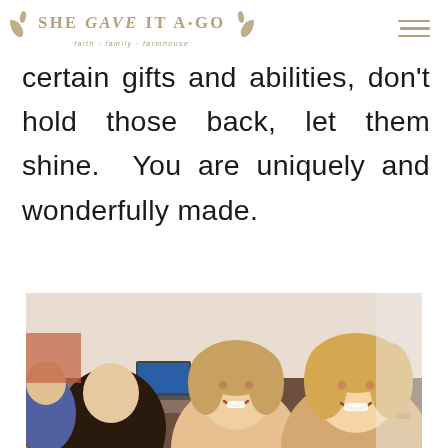SHE GAVE IT A GO — faith · family · farmhouse
certain gifts and abilities, don't hold those back, let them shine. You are uniquely and wonderfully made.
[Figure (photo): Two smiling women posing together at what appears to be a conference or event room.]